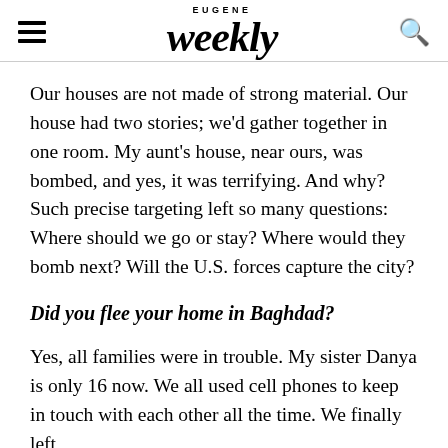EUGENE Weekly
Our houses are not made of strong material. Our house had two stories; we'd gather together in one room. My aunt's house, near ours, was bombed, and yes, it was terrifying. And why? Such precise targeting left so many questions: Where should we go or stay? Where would they bomb next? Will the U.S. forces capture the city?
Did you flee your home in Baghdad?
Yes, all families were in trouble. My sister Danya is only 16 now. We all used cell phones to keep in touch with each other all the time. We finally left